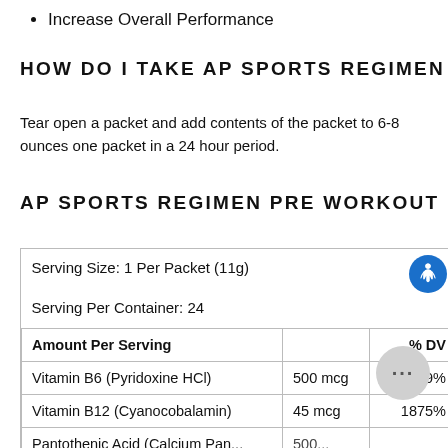Increase Overall Performance
HOW DO I TAKE AP SPORTS REGIMEN PRE
Tear open a packet and add contents of the packet to 6-8 ounces one packet in a 24 hour period.
AP SPORTS REGIMEN PRE WORKOUT INGR
| Amount Per Serving |  | % DV |
| --- | --- | --- |
| Serving Size: 1 Per Packet (11g) |  |  |
| Serving Per Container: 24 |  |  |
| Amount Per Serving |  | % DV |
| Vitamin B6 (Pyridoxine HCl) | 500 mcg | 29% |
| Vitamin B12 (Cyanocobalamin) | 45 mcg | 1875% |
| Pantothenic Acid (Calcium Pantothenate) | 500... |  |